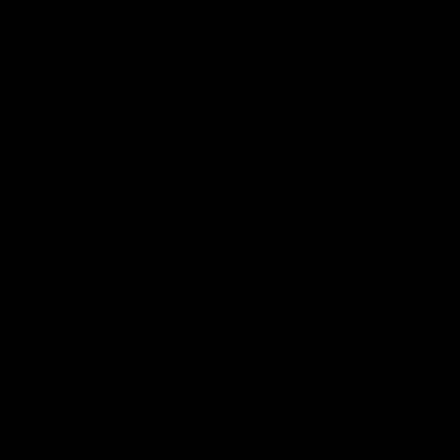27. Februar 2020, ...
Shahin Najafi
Theater im Pum...
31. März 2020, ...
Shahin Najafi
Stadtgarten, Kö...
3. April 2020, 2...
Shahin Najafi
Volksbühne am...
12. / 13. Juni 20...
BILDER ZERSTÖ...
Theater im Pum...
bodytalk Kopro...
18. / 19. Juni 20...
BILDER ZERSTÖ...
Teatr Rozbark E...
bodytalk Kopro...
26. / 27. Juni 20...